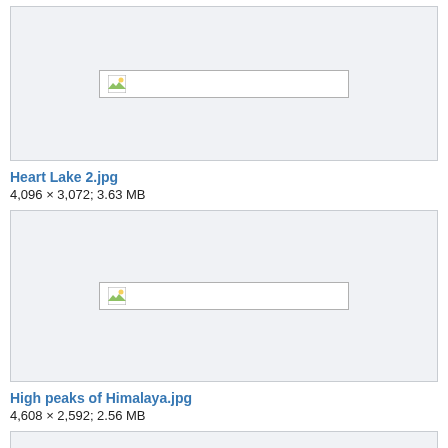[Figure (photo): Broken image placeholder for Heart Lake 2.jpg]
Heart Lake 2.jpg
4,096 × 3,072; 3.63 MB
[Figure (photo): Broken image placeholder for High peaks of Himalaya.jpg]
High peaks of Himalaya.jpg
4,608 × 2,592; 2.56 MB